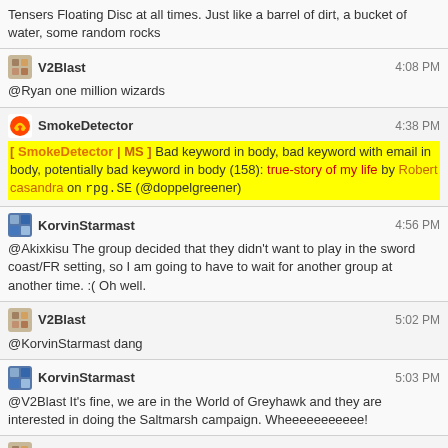Tensers Floating Disc at all times. Just like a barrel of dirt, a bucket of water, some random rocks
V2Blast 4:08 PM
@Ryan one million wizards
SmokeDetector 4:38 PM
[ SmokeDetector | MS ] Bad keyword in body, bad keyword with email in body, potentially bad keyword in body (158): true-story of my life by Robert casandra on rpg.SE (@doppelgreener)
KorvinStarmast 4:56 PM
@Akixkisu The group decided that they didn't want to play in the sword coast/FR setting, so I am going to have to wait for another group at another time. :( Oh well.
V2Blast 5:02 PM
@KorvinStarmast dang
KorvinStarmast 5:03 PM
@V2Blast It's fine, we are in the World of Greyhawk and they are interested in doing the Saltmarsh campaign. Wheeeeeeeeeee!
V2Blast 5:04 PM
@KorvinStarmast Saltmarsh you say
KorvinStarmast 5:04 PM
Someday, I want to run that adventure, it's a neat one for a low level group
@V2Blast Yep. And my son joined us